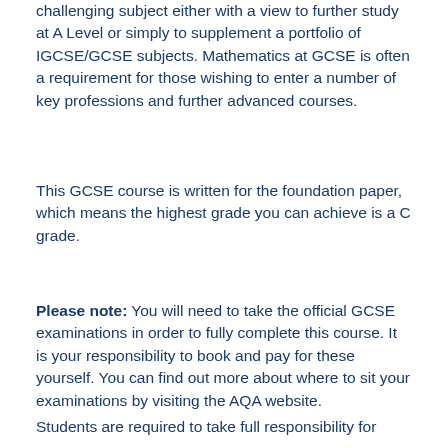challenging subject either with a view to further study at A Level or simply to supplement a portfolio of IGCSE/GCSE subjects. Mathematics at GCSE is often a requirement for those wishing to enter a number of key professions and further advanced courses.
This GCSE course is written for the foundation paper, which means the highest grade you can achieve is a C grade.
Please note: You will need to take the official GCSE examinations in order to fully complete this course. It is your responsibility to book and pay for these yourself. You can find out more about where to sit your examinations by visiting the AQA website.
Students are required to take full responsibility for